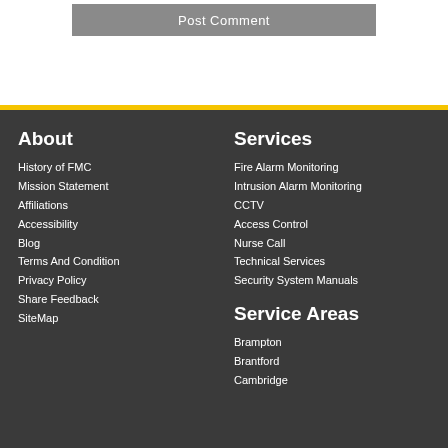Post Comment
About
History of FMC
Mission Statement
Affiliations
Accessibility
Blog
Terms And Condition
Privacy Policy
Share Feedback
SiteMap
Services
Fire Alarm Monitoring
Intrusion Alarm Monitoring
CCTV
Access Control
Nurse Call
Technical Services
Security System Manuals
Service Areas
Brampton
Brantford
Cambridge